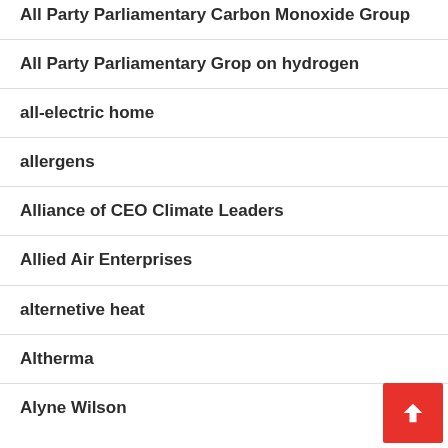All Party Parliamentary Carbon Monoxide Group
All Party Parliamentary Grop on hydrogen
all-electric home
allergens
Alliance of CEO Climate Leaders
Allied Air Enterprises
alternetive heat
Altherma
Alyne Wilson